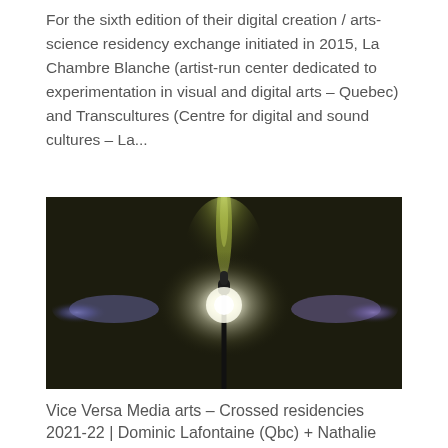For the sixth edition of their digital creation / arts-science residency exchange initiated in 2015, La Chambre Blanche (artist-run center dedicated to experimentation in visual and digital arts – Quebec) and Transcultures (Centre for digital and sound cultures – La...
[Figure (photo): Dark artistic photograph of a microphone stand silhouetted against a glowing white light with purple/blue light projections on either side, set against a dark background.]
Vice Versa Media arts – Crossed residencies 2021-22 | Dominic Lafontaine (Qbc) + Nathalie